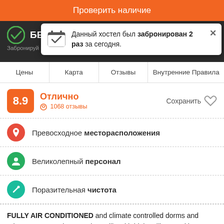Проверить наличие
БЕСПЛАТНАЯ ОТМЕНА
Данный хостел был забронирован 2 раз за сегодня.
Забронируй более 1 дней с рагасоко для особенной скидки!
Цены
Карта
Отзывы
Внутренние Правила
8.9
Отлично
1068 отзывы
Сохранить
Превосходное месторасположения
Великолепный персонал
Поразительная чистота
FULLY AIR CONDITIONED and climate controlled dorms and private rooms set in a spacious villa with high ceilings and large open areas, when you arrive at Vivo Escondido you step into the ultimate holiday